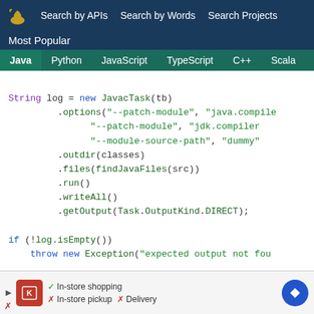Search by APIs  Search by Words  Search Projects
Most Popular
Java  Python  JavaScript  TypeScript  C++  Scala
String log = new JavacTask(tb)
        .options("--patch-module", "java.compile
                "--patch-module", "jdk.compiler
                "--module-source-path", "dummy"
        .outdir(classes)
        .files(findJavaFiles(src))
        .run()
        .writeAll()
        .getOutput(Task.OutputKind.DIRECT);

if (!log.isEmpty())
    throw new Exception("expected output not fou

checkFileExists(classes, "java.compiler/javax/la
checkFileExists(classes, "jdk.compiler/com/sun/s
[Figure (screenshot): Advertisement bar at bottom with Kroger logo, In-store shopping/pickup/Delivery info, and navigation icon]